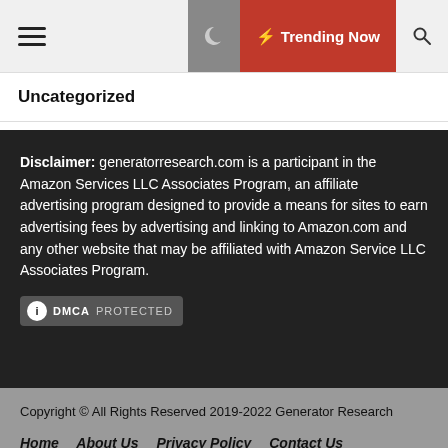≡  Trending Now 🔍
Uncategorized
Disclaimer: generatorresearch.com is a participant in the Amazon Services LLC Associates Program, an affiliate advertising program designed to provide a means for sites to earn advertising fees by advertising and linking to Amazon.com and any other website that may be affiliated with Amazon Service LLC Associates Program.
[Figure (logo): DMCA PROTECTED badge]
Copyright © All Rights Reserved 2019-2022 Generator Research
Home  About Us  Privacy Policy  Contact Us
Advertise With Us  Write for Us
Virtual Money – Why Are Banks Hesitant About Cryptocurrency?
Office Vs Rem Is Better For